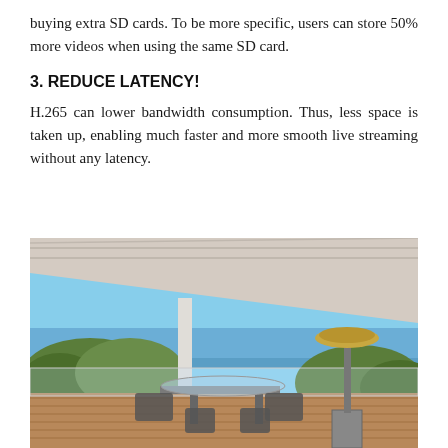buying extra SD cards. To be more specific, users can store 50% more videos when using the same SD card.
3. REDUCE LATENCY!
H.265 can lower bandwidth consumption. Thus, less space is taken up, enabling much faster and more smooth live streaming without any latency.
[Figure (photo): Outdoor patio/deck area with chairs and table under a modern pergola roof, a patio heater standing to the right, overlooking a scenic view of green trees and a body of water under a blue sky.]